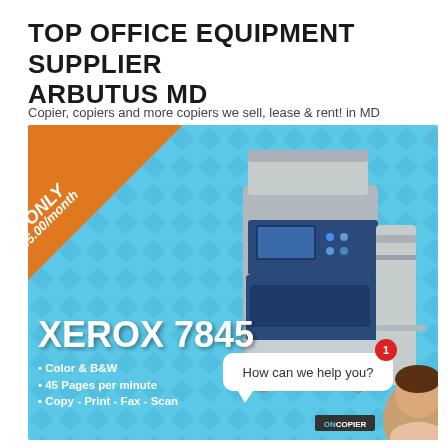TOP OFFICE EQUIPMENT SUPPLIER ARBUTUS MD
Copier, copiers and more copiers we sell, lease & rent! in MD
[Figure (photo): Advertisement for Xerox 7845 copier. Blue diamond-pattern background with orange triangle banner in top-left reading 'ONLY $195.00/month'. Large photo of Xerox 7845 multifunction copier/printer in center-right. Bold white text 'XEROX 7845' at bottom-left with bullet points: Color & B&W, 45 Pages per minute, Copy - Print - Fax - Scan. A chat bubble says 'How can we help you?' with a woman's avatar and a red notification badge showing '1'. A logo reads 'ONCOPIER' at the bottom right.]